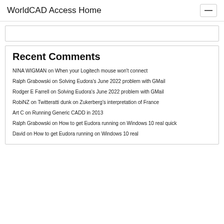WorldCAD Access Home
Recent Comments
NINA WIGMAN on When your Logitech mouse won't connect
Ralph Grabowski on Solving Eudora's June 2022 problem with GMail
Rodger E Farrell on Solving Eudora's June 2022 problem with GMail
RobiNZ on Twitteratti dunk on Zukerberg's interpretation of France
Art C on Running Generic CADD in 2013
Ralph Grabowski on How to get Eudora running on Windows 10 real quick
David on How to get Eudora running on Windows 10 real